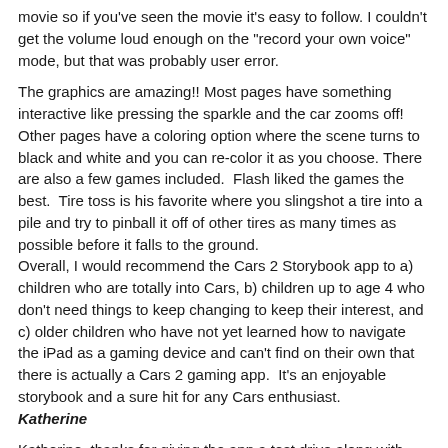movie so if you've seen the movie it's easy to follow. I couldn't get the volume loud enough on the "record your own voice" mode, but that was probably user error.
The graphics are amazing!! Most pages have something interactive like pressing the sparkle and the car zooms off! Other pages have a coloring option where the scene turns to black and white and you can re-color it as you choose. There are also a few games included.  Flash liked the games the best.  Tire toss is his favorite where you slingshot a tire into a pile and try to pinball it off of other tires as many times as possible before it falls to the ground.
Overall, I would recommend the Cars 2 Storybook app to a) children who are totally into Cars, b) children up to age 4 who don't need things to keep changing to keep their interest, and c) older children who have not yet learned how to navigate the iPad as a gaming device and can't find on their own that there is actually a Cars 2 gaming app.  It's an enjoyable storybook and a sure hit for any Cars enthusiast.
Katherine
Katherine, thanks for giving the app a test drive along with Flash! Speaking of the app, if you haven't tried it...